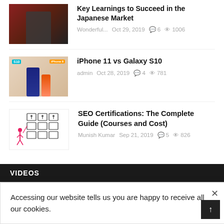[Figure (photo): Thumbnail of a man in a vest standing in front of a building, for article about Japanese market]
Key Learnings to Succeed in the Japanese Market
Wonderful...  Oct 29, 2019  6  1006
[Figure (photo): Thumbnail showing iPhone 11 and Galaxy S10 side by side]
iPhone 11 vs Galaxy S10
admin  Oct 28, 2019  4  781
[Figure (illustration): Illustration of a person pointing at certification boards/charts on a wall]
SEO Certifications: The Complete Guide (Courses and Cost)
Munish Kumar  Sep 21, 2019  5  826
VIDEOS
Accessing our website tells us you are happy to receive all our cookies.